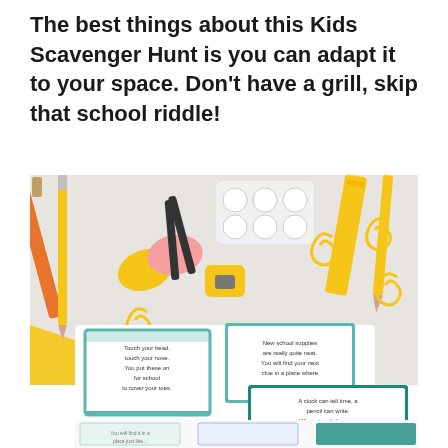The best things about this Kids Scavenger Hunt is you can adapt it to your space. Don't have a grill, skip that school riddle!
[Figure (photo): Photo of school supplies laid out on a light gray surface including orange scissors, paintbrushes, a ruler, pencils, yellow paper clips, a pencil sharpener, and watercolor paints. In the lower portion, printable scavenger hunt clue cards are shown with teal and white decorative borders, featuring rhyming riddles about school supplies.]